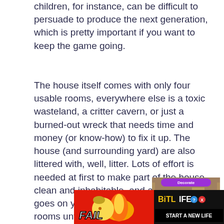children, for instance, can be difficult to persuade to produce the next generation, which is pretty important if you want to keep the game going.
The house itself comes with only four usable rooms, everywhere else is a toxic wasteland, a critter cavern, or just a burned-out wreck that needs time and money (or know-how) to fix it up. The house (and surrounding yard) are also littered with, well, litter. Lots of effort is needed at first to make part of the house clean and inhabitable, and as the game goes on you can eventually renovate rooms until your little folks are living in their dream house.
Money can be earned by the adult famil mem
[Figure (screenshot): Game screenshot showing a top-down view of a house interior with a purple 'Decorate' button at the top]
[Figure (photo): Advertisement banner for BitLife game showing 'FAIL' text with a cartoon character, fire graphics, and 'START A NEW LIFE' text on black background]